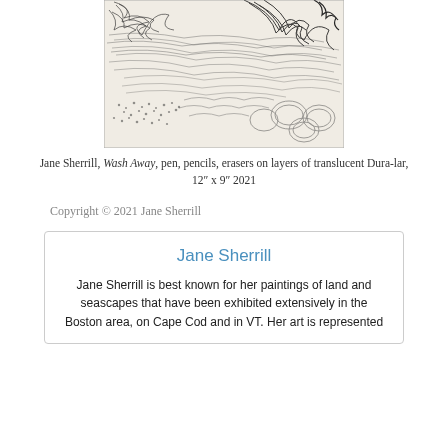[Figure (illustration): A black and white sketch/drawing showing abstract gestural marks, lines, and textures suggesting a landscape with wind or water movement. Medium is pen, pencils, erasers on layers of translucent Dura-lar.]
Jane Sherrill, Wash Away, pen, pencils, erasers on layers of translucent Dura-lar, 12″ x 9″ 2021
Copyright © 2021 Jane Sherrill
Jane Sherrill
Jane Sherrill is best known for her paintings of land and seascapes that have been exhibited extensively in the Boston area, on Cape Cod and in VT. Her art is represented